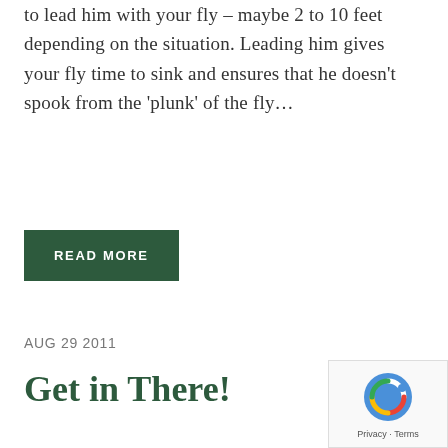to lead him with your fly – maybe 2 to 10 feet depending on the situation. Leading him gives your fly time to sink and ensures that he doesn't spook from the 'plunk' of the fly…
READ MORE
AUG 29 2011
Get in There!